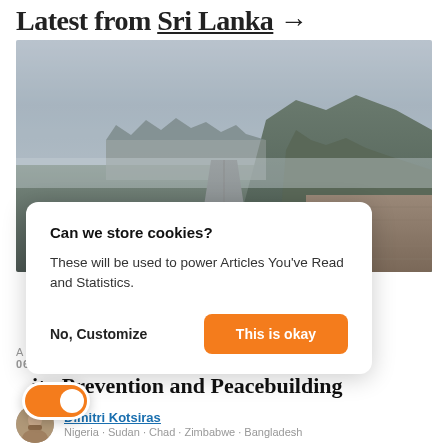Latest from Sri Lanka →
[Figure (photo): Landscape photo showing a straight road or railway track leading into a misty town with mountains in the background, overcast sky, stone wall on the right side.]
Can we store cookies?

These will be used to power Articles You've Read and Statistics.

No, Customize | This is okay
A
06 APR 2018
...ity Prevention and Peacebuilding
Dimitri Kotsiras
Nigeria · Sudan · Chad · Zimbabwe · Bangladesh